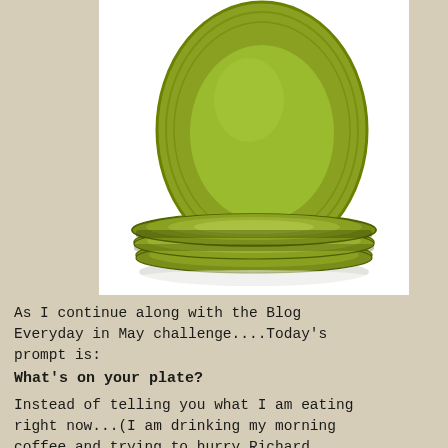[Figure (photo): Stack of chartreuse/yellow-green ceramic dinner plates, one plate standing upright behind the stack, on a white background]
As I continue along with the Blog Everyday in May challenge....Today's prompt is:
What's on your plate?
Instead of telling you what I am eating right now...(I am drinking my morning coffee and trying to hurry Richard